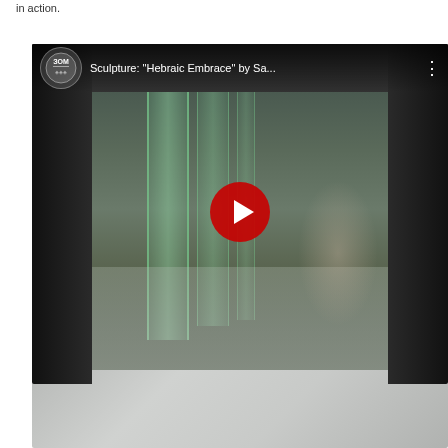in action.
[Figure (screenshot): YouTube video thumbnail showing a glass sculpture titled 'Hebraic Embrace' by Sa... with a 30M channel logo, YouTube play button overlay, and a person visible in the reflection of the mirrored glass sculpture installation]
[Figure (photo): Partial view of another image at the bottom of the page, showing a gray/silver surface]